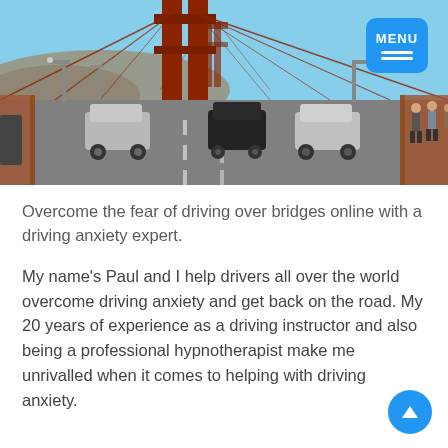[Figure (photo): View from a car driving on the Golden Gate Bridge. The red suspension tower is prominent in the center with cables extending outward. Cars are visible on the road surface. Pedestrians walk on the right side. Hills and blue sky in the background. A blue MENU button with hamburger icon is in the top-right corner.]
Overcome the fear of driving over bridges online with a driving anxiety expert.
My name's Paul and I help drivers all over the world overcome driving anxiety and get back on the road. My 20 years of experience as a driving instructor and also being a professional hypnotherapist make me unrivalled when it comes to helping with driving anxiety.